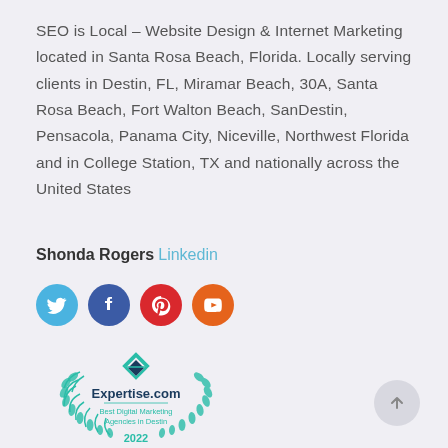SEO is Local – Website Design & Internet Marketing located in Santa Rosa Beach, Florida. Locally serving clients in Destin, FL, Miramar Beach, 30A, Santa Rosa Beach, Fort Walton Beach, SanDestin, Pensacola, Panama City, Niceville, Northwest Florida and in College Station, TX and nationally across the United States
Shonda Rogers Linkedin
[Figure (infographic): Social media icon buttons: Twitter (blue), Facebook (dark blue), Pinterest (red), YouTube (orange)]
[Figure (logo): Expertise.com badge — Best Digital Marketing Agencies in Destin 2022, with teal laurel wreath and diamond logo]